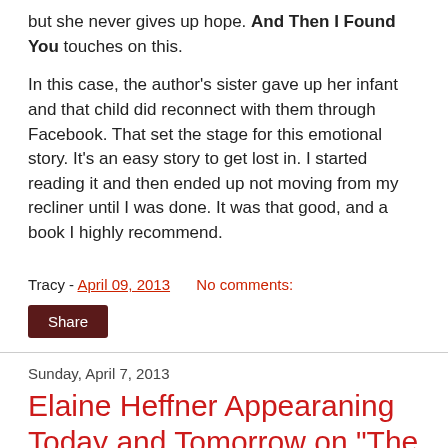but she never gives up hope. And Then I Found You touches on this.
In this case, the author's sister gave up her infant and that child did reconnect with them through Facebook. That set the stage for this emotional story. It's an easy story to get lost in. I started reading it and then ended up not moving from my recliner until I was done. It was that good, and a book I highly recommend.
Tracy - April 09, 2013   No comments:
Share
Sunday, April 7, 2013
Elaine Heffner Appearaning Today and Tomorrow on "The Open Mind"